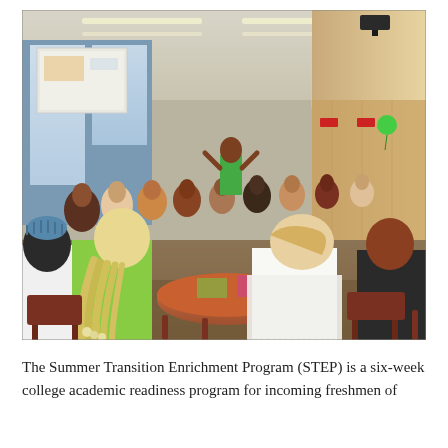[Figure (photo): A large indoor hall with many students seated at round tables during what appears to be an orientation or workshop event. A presenter in green stands at the front. Projection screens are visible in the background. Students are listening and engaged.]
The Summer Transition Enrichment Program (STEP) is a six-week college academic readiness program for incoming freshmen of